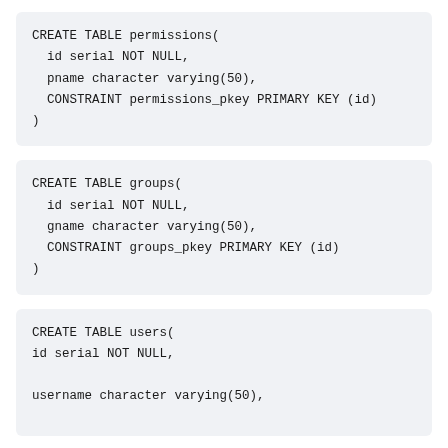CREATE TABLE permissions(
  id serial NOT NULL,
  pname character varying(50),
  CONSTRAINT permissions_pkey PRIMARY KEY (id)
)
CREATE TABLE groups(
  id serial NOT NULL,
  gname character varying(50),
  CONSTRAINT groups_pkey PRIMARY KEY (id)
)
CREATE TABLE users(
  id serial NOT NULL,
  username character varying(50),